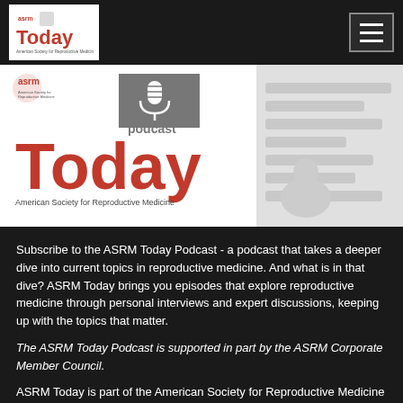ASRM Today
[Figure (logo): ASRM Today Podcast logo with microphone icon and red 'Today' text, American Society for Reproductive Medicine]
Subscribe to the ASRM Today Podcast - a podcast that takes a deeper dive into current topics in reproductive medicine. And what is in that dive? ASRM Today brings you episodes that explore reproductive medicine through personal interviews and expert discussions, keeping up with the topics that matter.
The ASRM Today Podcast is supported in part by the ASRM Corporate Member Council.
ASRM Today is part of the American Society for Reproductive Medicine (ASRM) family of podcasts. Listen to more ASRM podcasts: